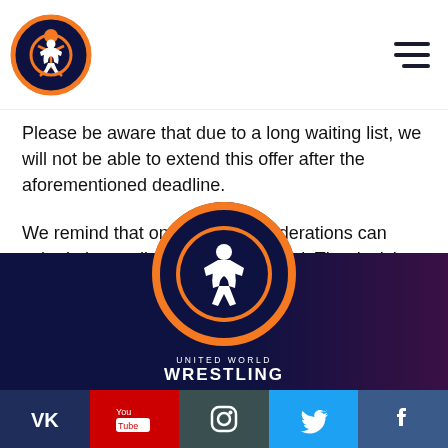United World Wrestling logo and navigation header
Please be aware that due to a long waiting list, we will not be able to extend this offer after the aforementioned deadline.
We remind that only National Federations can submit the applications for approval. The decision on the applications will be made by Refereeing Commission of UWW no later than 30 January 2022.
[Figure (logo): United World Wrestling circular logo in footer with dark navy background circle, orange ring, and white wrestler figure, with UNITED WORLD WRESTLING text below]
Social media icons: VK, YouTube, Instagram, Twitter, Facebook